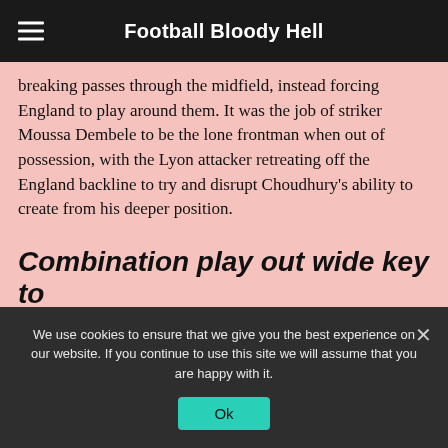Football Bloody Hell
breaking passes through the midfield, instead forcing England to play around them. It was the job of striker Moussa Dembele to be the lone frontman when out of possession, with the Lyon attacker retreating off the England backline to try and disrupt Choudhury's ability to create from his deeper position.
Combination play out wide key to creativity
We use cookies to ensure that we give you the best experience on our website. If you continue to use this site we will assume that you are happy with it.